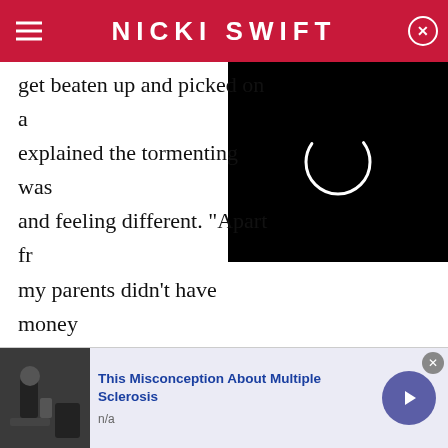NICKI SWIFT
get beaten up and picked on a... explained the tormenting was... and feeling different. "Apart fr... my parents didn't have money... clothes or the cool backpack," she recalled. "I wasn't a rebel, so I didn't want to smoke with the girls or stay out all night at the age of 13."
[Figure (screenshot): Video loading spinner overlay (black rectangle with white circle spinner)]
The mom to three told the Daily Mail she never stood up to the girls because it was important to her to take the high road. "I tried to keep everything inside because
[Figure (photo): Advertisement image showing a person with a wheelchair/mobility device]
This Misconception About Multiple Sclerosis
n/a